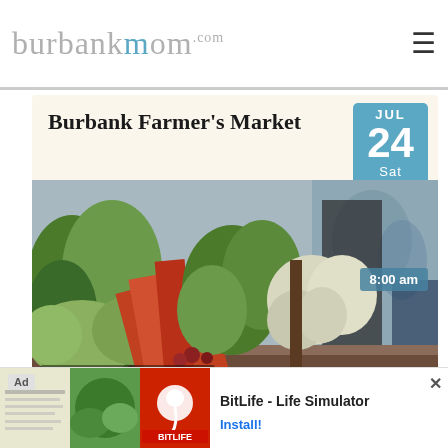burbankmom.com
Burbank Farmer's Market
JUL 24 Sat
[Figure (photo): Colorful fresh vegetables including leafy greens, carrots, and cauliflower displayed at a farmers market, with shoppers visible in the background]
8:00 am
DOWNTOWN BURBANK
Bob's Big Boy Friday Night
JUL
[Figure (screenshot): Mobile advertisement banner for BitLife - Life Simulator app with Ad label, app icons on left and Install button on right]